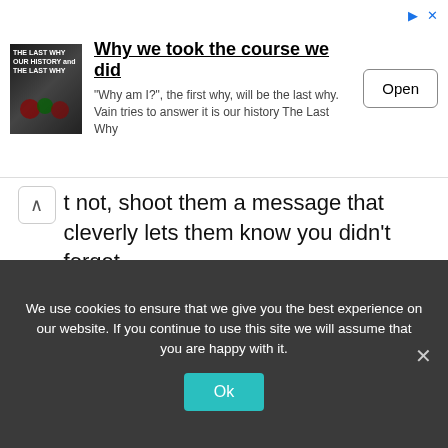[Figure (screenshot): Advertisement banner for a book titled 'Why we took the course we did' with an Open button]
t not, shoot them a message that cleverly lets them know you didn't forget.
Are birthday wishes important?
It is the day which allows the relatives, family, and friends to express the love they cherish for the person. Happy birthday wishes are a feeling that our loved ones need our presence rather than presents and we should always spare time for them at least on their special day.
Is natal day a birthday?
We use cookies to ensure that we give you the best experience on our website. If you continue to use this site we will assume that you are happy with it.